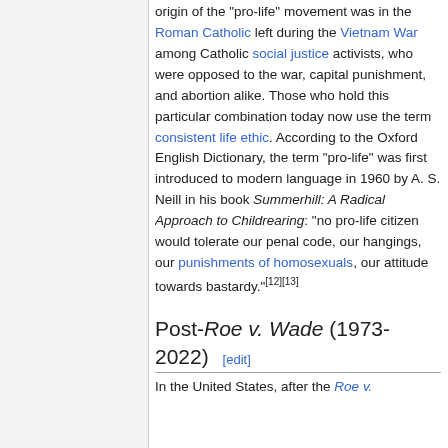origin of the "pro-life" movement was in the Roman Catholic left during the Vietnam War among Catholic social justice activists, who were opposed to the war, capital punishment, and abortion alike. Those who hold this particular combination today now use the term consistent life ethic. According to the Oxford English Dictionary, the term "pro-life" was first introduced to modern language in 1960 by A. S. Neill in his book Summerhill: A Radical Approach to Childrearing: "no pro-life citizen would tolerate our penal code, our hangings, our punishments of homosexuals, our attitude towards bastardy."[12][13]
Post-Roe v. Wade (1973-2022) [edit]
In the United States, after the Roe v.